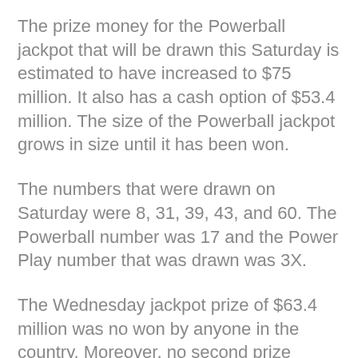The prize money for the Powerball jackpot that will be drawn this Saturday is estimated to have increased to $75 million. It also has a cash option of $53.4 million. The size of the Powerball jackpot grows in size until it has been won.
The numbers that were drawn on Saturday were 8, 31, 39, 43, and 60. The Powerball number was 17 and the Power Play number that was drawn was 3X.
The Wednesday jackpot prize of $63.4 million was no won by anyone in the country. Moreover, no second prize winners were announced for the $1 million awards.
Often, the Powerball draw doesn't have any